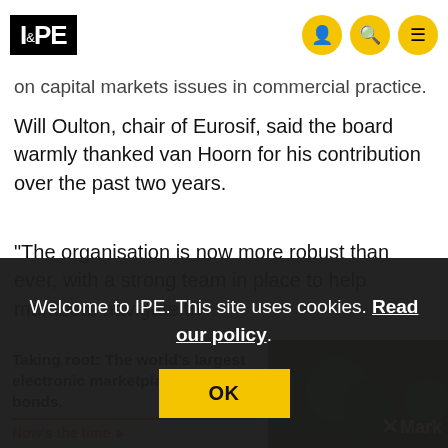IPE
on capital markets issues in commercial practice.
Will Oulton, chair of Eurosif, said the board warmly thanked van Hoorn for his contribution over the past two years.
"The organisation is now more robust than ever, with a strong team in place to help members navigate th... Ac... th...
Welcome to IPE. This site uses cookies. Read our policy. OK
Taking root: The world's largest electronic marketplace for green bonds. Now's the time ▶